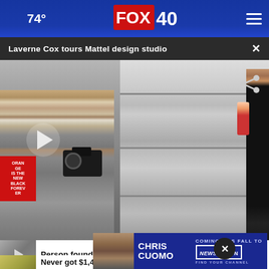74° FOX 40
Laverne Cox tours Mattel design studio ×
[Figure (photo): Laverne Cox at Mattel design studio holding a Barbie doll, with a photographer in the foreground and shelves of dolls in the background. Play button overlay visible.]
Person found dead inside burning RV
[Figure (photo): Advertisement banner: Chris Cuomo Coming This Fall to NewsNation. Find Your Channel.]
Never got $1,400 stimulus? here's